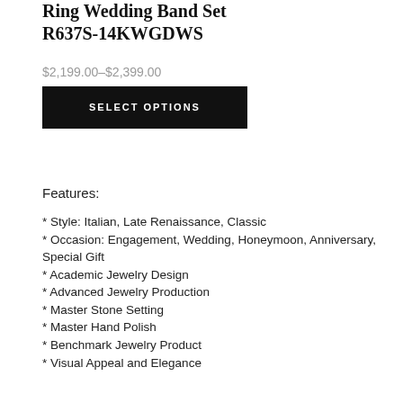Ring Wedding Band Set R637S-14KWGDWS
$2,199.00–$2,399.00
SELECT OPTIONS
Features:
* Style: Italian, Late Renaissance, Classic
* Occasion: Engagement, Wedding, Honeymoon, Anniversary, Special Gift
* Academic Jewelry Design
* Advanced Jewelry Production
* Master Stone Setting
* Master Hand Polish
* Benchmark Jewelry Product
* Visual Appeal and Elegance